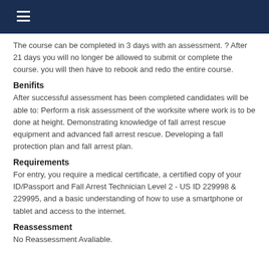The course can be completed in 3 days with an assessment. ? After 21 days you will no longer be allowed to submit or complete the course. you will then have to rebook and redo the entire course.
Benifits
After successful assessment has been completed candidates will be able to: Perform a risk assessment of the worksite where work is to be done at height. Demonstrating knowledge of fall arrest rescue equipment and advanced fall arrest rescue. Developing a fall protection plan and fall arrest plan.
Requirements
For entry, you require a medical certificate, a certified copy of your ID/Passport and Fall Arrest Technician Level 2 - US ID 229998 & 229995, and a basic understanding of how to use a smartphone or tablet and access to the internet.
Reassessment
No Reassessment Avaliable.